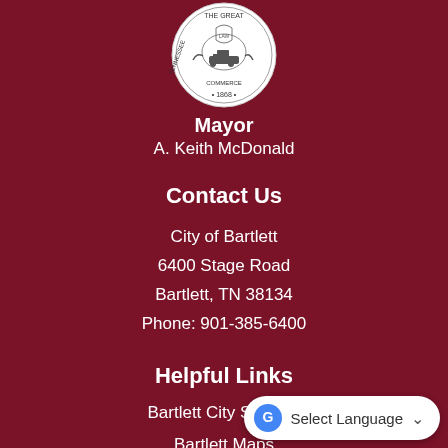[Figure (logo): City of Bartlett Tennessee official seal/logo, circular, showing a train and the year 1868]
Mayor
A. Keith McDonald
Contact Us
City of Bartlett
6400 Stage Road
Bartlett, TN 38134
Phone: 901-385-6400
Helpful Links
Bartlett City Schools
Bartlett Maps
Bartlett Area Chamber of Commerce